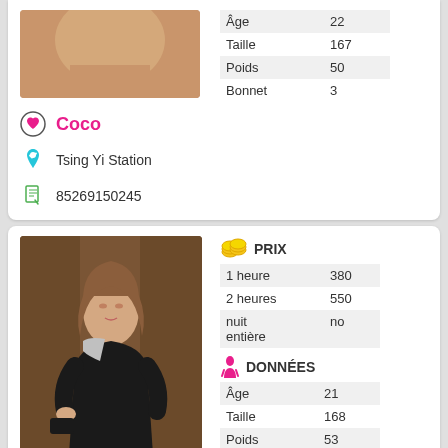[Figure (photo): Close-up photo of a person (partial face/hand visible), top portion]
Coco
Tsing Yi Station
85269150245
|  |  |
| --- | --- |
| Âge | 22 |
| Taille | 167 |
| Poids | 50 |
| Bonnet | 3 |
[Figure (photo): Photo of a young woman in a black dress holding a clutch bag]
PRIX
|  |  |
| --- | --- |
| 1 heure | 380 |
| 2 heures | 550 |
| nuit entière | no |
DONNÉES
|  |  |
| --- | --- |
| Âge | 21 |
| Taille | 168 |
| Poids | 53 |
| Bonnet | 3 |
Wakako
Tsing Yi Station
85265877611